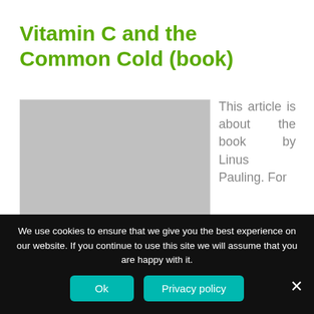Vitamin C and the Common Cold (book)
[Figure (photo): Gray placeholder image representing a book cover]
This article is about the book by Linus Pauling. For
We use cookies to ensure that we give you the best experience on our website. If you continue to use this site we will assume that you are happy with it.